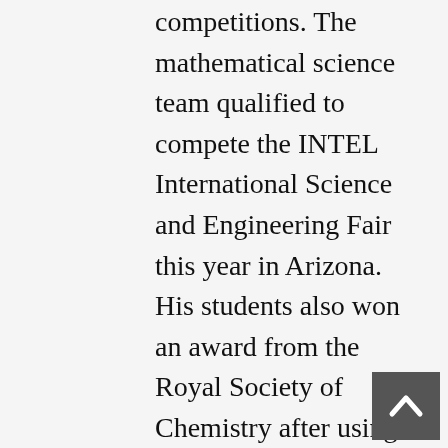competitions. The mathematical science team qualified to compete the INTEL International Science and Engineering Fair this year in Arizona. His students also won an award from the Royal Society of Chemistry after using local plant life to generate electricity.
[Figure (other): Back to top button — dark grey square with a white upward-pointing chevron/caret arrow]